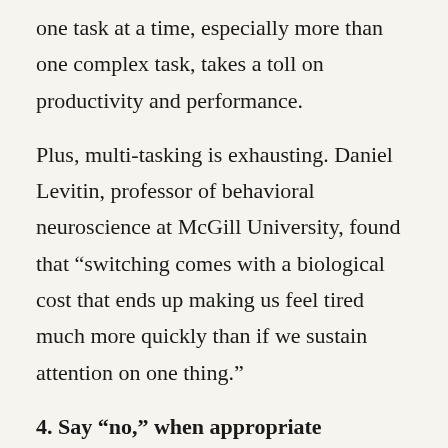one task at a time, especially more than one complex task, takes a toll on productivity and performance.
Plus, multi-tasking is exhausting. Daniel Levitin, professor of behavioral neuroscience at McGill University, found that “switching comes with a biological cost that ends up making us feel tired much more quickly than if we sustain attention on one thing.”
4. Say “no,” when appropriate
Some people are uncomfortable saying “no” to other people. In fact, they’d rather inconvenience themselves than say “no” to